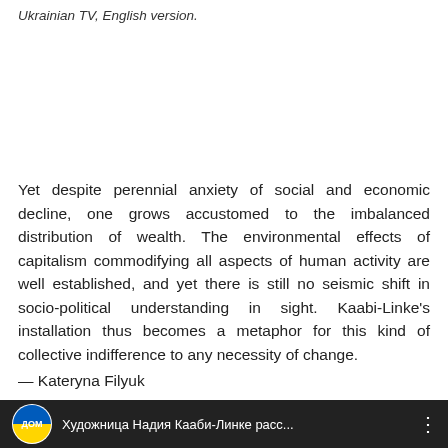Ukrainian TV, English version.
Yet despite perennial anxiety of social and economic decline, one grows accustomed to the imbalanced distribution of wealth. The environmental effects of capitalism commodifying all aspects of human activity are well established, and yet there is still no seismic shift in socio-political understanding in sight. Kaabi-Linke’s installation thus becomes a metaphor for this kind of collective indifference to any necessity of change.
— Kateryna Filyuk
[Figure (screenshot): Video thumbnail showing DOM TV logo (yellow and blue circular logo) with Cyrillic text: Художница Надия Кааби-Линке расс... on dark background with a person visible]